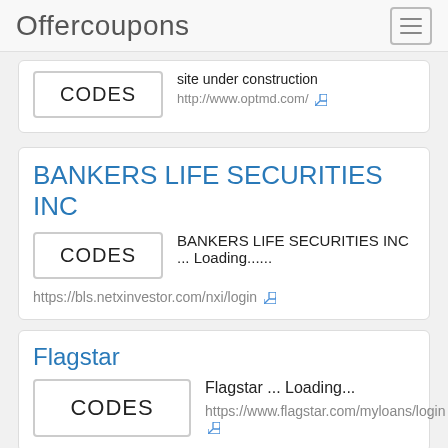Offercoupons
site under construction
http://www.optmd.com/
BANKERS LIFE SECURITIES INC
BANKERS LIFE SECURITIES INC ... Loading......
https://bls.netxinvestor.com/nxi/login
Flagstar
Flagstar ... Loading...
https://www.flagstar.com/myloans/login